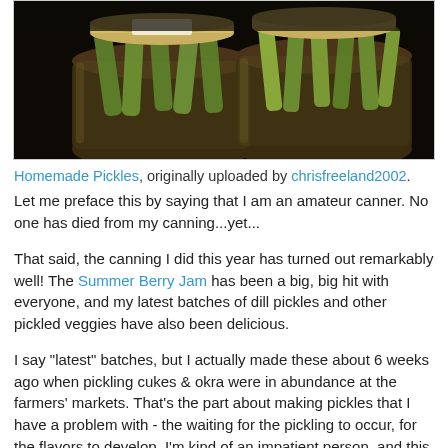[Figure (photo): Two glass jars of homemade pickles on a dark background, viewed from above/side, showing pickled cucumbers and other vegetables inside the jars.]
Homemade Pickles, originally uploaded by chrisfreeland2002.
Let me preface this by saying that I am an amateur canner. No one has died from my canning...yet...
That said, the canning I did this year has turned out remarkably well! The Summer Berry Jam has been a big, big hit with everyone, and my latest batches of dill pickles and other pickled veggies have also been delicious.
I say "latest" batches, but I actually made these about 6 weeks ago when pickling cukes & okra were in abundance at the farmers' markets. That's the part about making pickles that I have a problem with - the waiting for the pickling to occur, for the flavors to develop. I'm kind of an impatient person, and this whole 'delayed gratification' thing you have to accept with homemade pickles is really hard to...